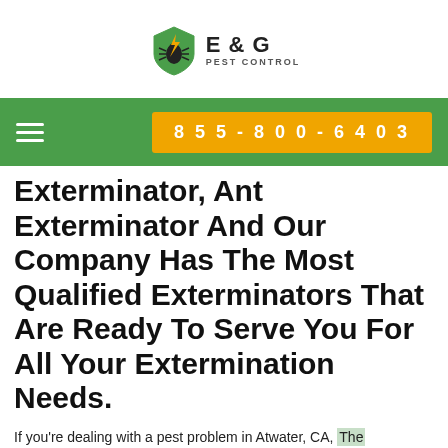[Figure (logo): E & G Pest Control logo with shield icon containing a bug silhouette and lightning bolt]
855-800-6403
Exterminator, Ant Exterminator And Our Company Has The Most Qualified Exterminators That Are Ready To Serve You For All Your Extermination Needs.
If you're dealing with a pest problem in Atwater, CA, The
Call for Quick and Reliable Service
855-800-6403